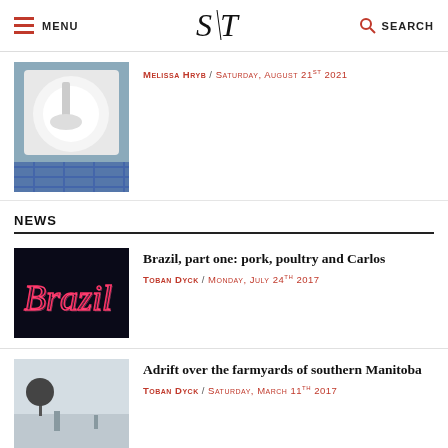MENU | S·T | SEARCH
[Figure (photo): A jar of white cream/yogurt with a spoon scooping it, on a blue checked cloth background]
Melissa Hryb / Saturday, August 21st 2021
NEWS
[Figure (photo): Neon sign spelling 'Brazil' in pink/red cursive lettering on a dark background]
Brazil, part one: pork, poultry and Carlos
Toban Dyck / Monday, July 24th 2017
[Figure (photo): A snowy winter landscape with a bare tree and utility poles in southern Manitoba]
Adrift over the farmyards of southern Manitoba
Toban Dyck / Saturday, March 11th 2017